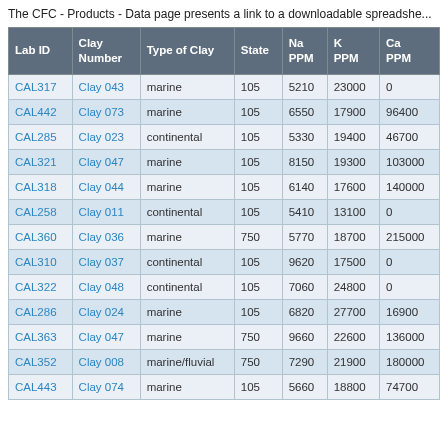The CFC - Products - Data page presents a link to a downloadable spreadshe...
| Lab ID | Clay Number | Type of Clay | State | Na PPM | K PPM | Ca PPM |
| --- | --- | --- | --- | --- | --- | --- |
| CAL317 | Clay 043 | marine | 105 | 5210 | 23000 | 0 |
| CAL442 | Clay 073 | marine | 105 | 6550 | 17900 | 96400 |
| CAL285 | Clay 023 | continental | 105 | 5330 | 19400 | 46700 |
| CAL321 | Clay 047 | marine | 105 | 8150 | 19300 | 103000 |
| CAL318 | Clay 044 | marine | 105 | 6140 | 17600 | 140000 |
| CAL258 | Clay 011 | continental | 105 | 5410 | 13100 | 0 |
| CAL360 | Clay 036 | marine | 750 | 5770 | 18700 | 215000 |
| CAL310 | Clay 037 | continental | 105 | 9620 | 17500 | 0 |
| CAL322 | Clay 048 | continental | 105 | 7060 | 24800 | 0 |
| CAL286 | Clay 024 | marine | 105 | 6820 | 27700 | 16900 |
| CAL363 | Clay 047 | marine | 750 | 9660 | 22600 | 136000 |
| CAL352 | Clay 008 | marine/fluvial | 750 | 7290 | 21900 | 180000 |
| CAL443 | Clay 074 | marine | 105 | 5660 | 18800 | 74700 |